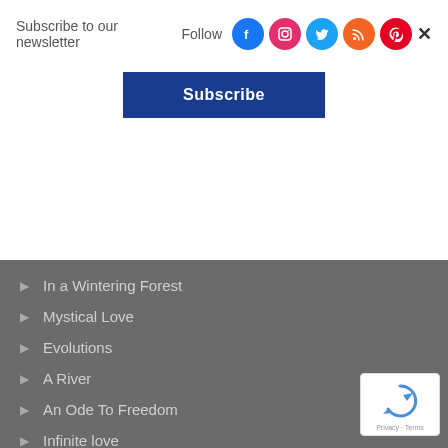Subscribe to our newsletter
Follow
[Figure (other): Social media icons: Facebook, Instagram, Twitter, RSS, Pinterest, and X/close button]
Subscribe
In a Wintering Forest
Mystical Love
Evolutions
A River
An Ode To Freedom
Infinite love
[Figure (other): reCAPTCHA badge with Privacy and Terms labels]